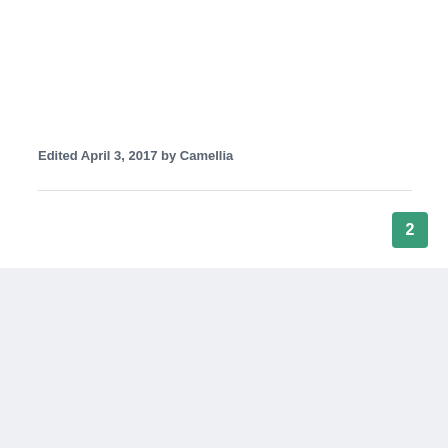Edited April 3, 2017 by Camellia
2